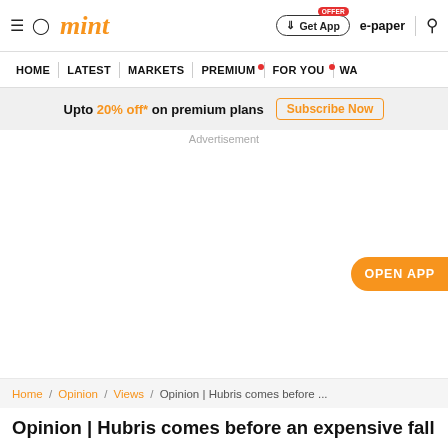mint
HOME | LATEST | MARKETS | PREMIUM | FOR YOU | WA
Upto 20% off* on premium plans  Subscribe Now
Advertisement
OPEN APP
Home / Opinion / Views / Opinion | Hubris comes before ...
Opinion | Hubris comes before an expensive fall